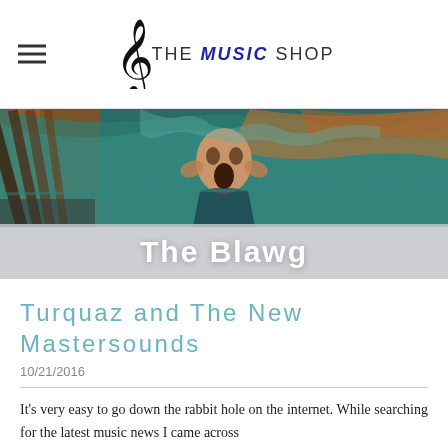THE MUSIC SHOP
[Figure (photo): Painting resembling Edvard Munch's The Scream — a figure with an open mouth and hands on face against a swirling orange and teal sky/landscape background. Used as hero image banner for 'The Blawg' blog section.]
The Blawg
Turquaz and The New Mastersounds
10/21/2016
It's very easy to go down the rabbit hole on the internet. While searching for the latest music news I came across